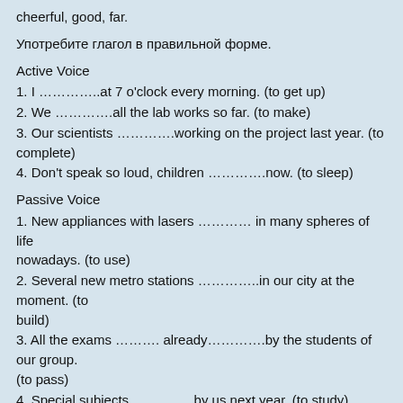cheerful, good, far.
Употребите глагол в правильной форме.
Active Voice
1. I …………..at 7 o'clock every morning. (to get up)
2. We ………….all the lab works so far. (to make)
3. Our scientists ………….working on the project last year. (to complete)
4. Don't speak so loud, children ………….now. (to sleep)
Passive Voice
1. New appliances with lasers ………… in many spheres of life nowadays. (to use)
2. Several new metro stations …………..in our city at the moment. (to build)
3. All the exams ………. already………….by the students of our group. (to pass)
4. Special subjects …………..by us next year. (to study)
Раскройте скобки, используя правила согласования времен.
1. They said that the weather (to be) nice the next day.